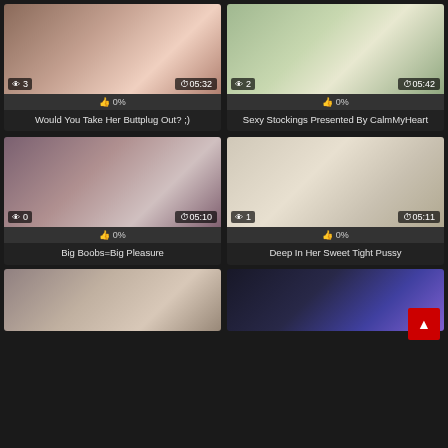[Figure (photo): Video thumbnail 1 - adult content, dark bedroom scene]
0%
Would You Take Her Buttplug Out? ;)
[Figure (photo): Video thumbnail 2 - adult content, light green bedroom scene]
0%
Sexy Stockings Presented By CalmMyHeart
[Figure (photo): Video thumbnail 3 - adult content, purple headboard bedroom]
0%
Big Boobs=Big Pleasure
[Figure (photo): Video thumbnail 4 - adult content, woman in chair]
0%
Deep In Her Sweet Tight Pussy
[Figure (photo): Video thumbnail 5 - adult content, patterned background]
[Figure (photo): Video thumbnail 6 - adult content, neon lights purple/blue]